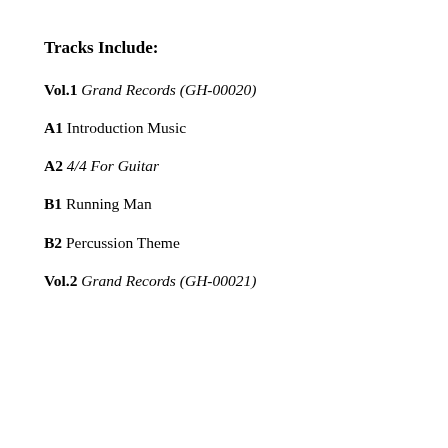Tracks Include:
Vol.1 Grand Records (GH-00020)
A1 Introduction Music
A2 4/4 For Guitar
B1 Running Man
B2 Percussion Theme
Vol.2 Grand Records (GH-00021)